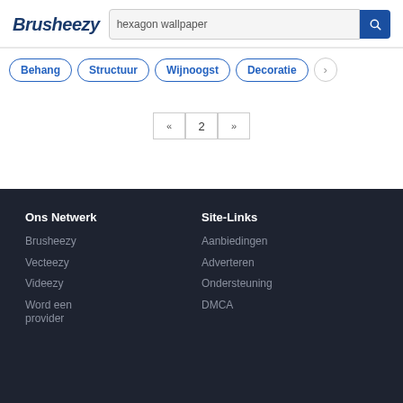Brusheezy
hexagon wallpaper
Behang
Structuur
Wijnoogst
Decoratie
« 2 »
Ons Netwerk
Site-Links
Brusheezy
Vecteezy
Videezy
Word een provider
Aanbiedingen
Adverteren
Ondersteuning
DMCA